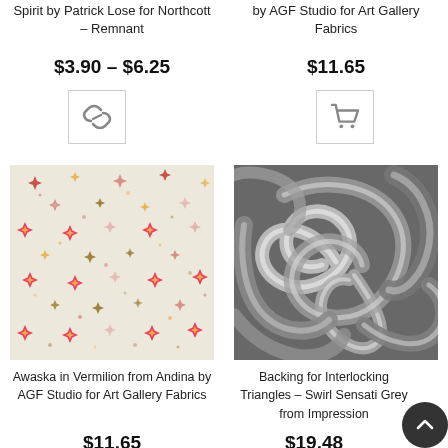Spirit by Patrick Lose for Northcott – Remnant
$3.90 – $6.25
[Figure (other): Link/chain icon button]
by AGF Studio for Art Gallery Fabrics
$11.65
[Figure (other): Shopping cart icon button]
[Figure (photo): Awaska in Vermilion fabric - cream background with colorful diamond/star pattern in pink, red, orange, gold]
[Figure (photo): Backing for Interlocking Triangles - swirl sensation grey fabric with swirling grey and white pattern]
Awaska in Vermilion from Andina by AGF Studio for Art Gallery Fabrics
Backing for Interlocking Triangles – Swirl Sensati Grey from Impression
$11.65
$19.48